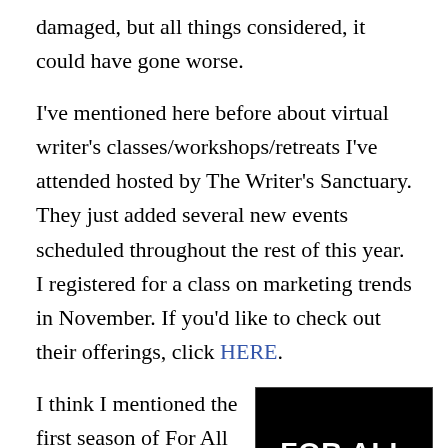damaged, but all things considered, it could have gone worse.
I've mentioned here before about virtual writer's classes/workshops/retreats I've attended hosted by The Writer's Sanctuary. They just added several new events scheduled throughout the rest of this year. I registered for a class on marketing trends in November. If you'd like to check out their offerings, click HERE.
I think I mentioned the first season of For All Mankind last summer. The second season episodes
[Figure (other): Book/show cover image for 'For All Mankind' — white bold text on black background with partial image at bottom]